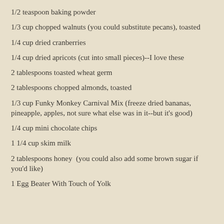1/2 teaspoon baking powder
1/3 cup chopped walnuts (you could substitute pecans), toasted
1/4 cup dried cranberries
1/4 cup dried apricots (cut into small pieces)--I love these
2 tablespoons toasted wheat germ
2 tablespoons chopped almonds, toasted
1/3 cup Funky Monkey Carnival Mix (freeze dried bananas, pineapple, apples, not sure what else was in it--but it's good)
1/4 cup mini chocolate chips
1 1/4 cup skim milk
2 tablespoons honey  (you could also add some brown sugar if you'd like)
1 Egg Beater With Touch of Yolk